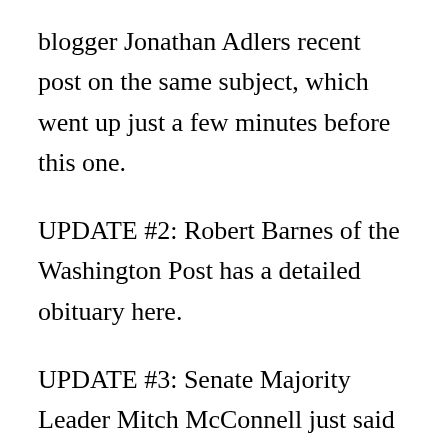blogger Jonathan Adlers recent post on the same subject, which went up just a few minutes before this one.
UPDATE #2: Robert Barnes of the Washington Post has a detailed obituary here.
UPDATE #3: Senate Majority Leader Mitch McConnell just said that the Senate will not consider the nomination of any possible successor until after the November election: